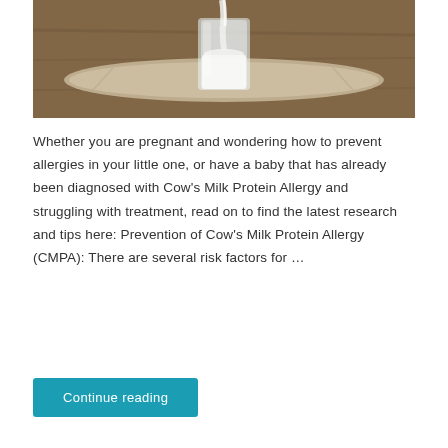[Figure (photo): A glass being filled with milk, placed on a piece of burlap/linen fabric on a wooden surface]
Whether you are pregnant and wondering how to prevent allergies in your little one, or have a baby that has already been diagnosed with Cow's Milk Protein Allergy and struggling with treatment, read on to find the latest research and tips here: Prevention of Cow's Milk Protein Allergy (CMPA): There are several risk factors for …
Continue reading